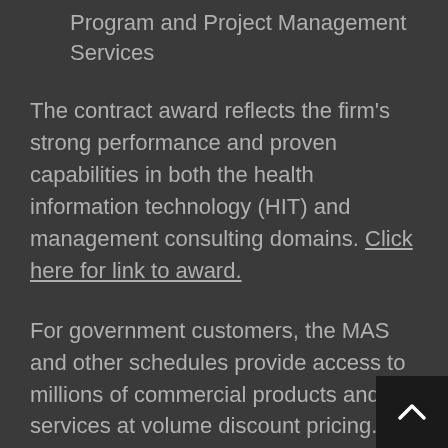Program and Project Management Services
The contract award reflects the firm's strong performance and proven capabilities in both the health information technology (HIT) and management consulting domains. Click here for link to award.
For government customers, the MAS and other schedules provide access to millions of commercial products and services at volume discount pricing. Edera's presence on this schedule allows government clients